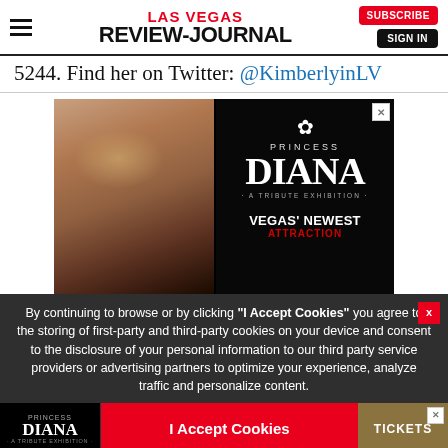Las Vegas Review-Journal | Subscribe | Sign In
5244. Find her on Twitter: @KimberlyinLV
[Figure (photo): Advertisement for Princess Diana: A Tribute Exhibition – Vegas' Newest Attraction, featuring a portrait of Princess Diana wearing a tiara, with a rose logo and text on a black background]
By continuing to browse or by clicking "I Accept Cookies" you agree to the storing of first-party and third-party cookies on your device and consent to the disclosure of your personal information to our third party service providers or advertising partners to optimize your experience, analyze traffic and personalize content.
[Figure (photo): Bottom advertisement bar for Princess Diana: A Tribute Exhibition with I Accept Cookies button and Tickets button]